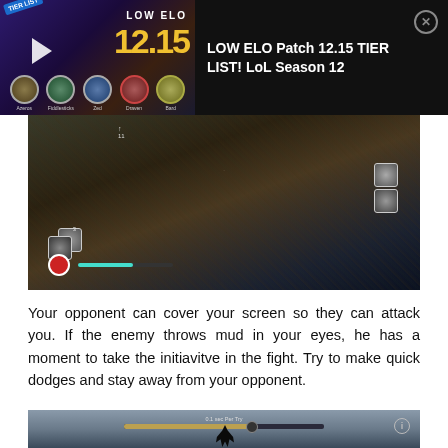[Figure (screenshot): Ad banner for 'LOW ELO Patch 12.15 TIER LIST! LoL Season 12' video with thumbnail showing champion icons and patch number, alongside title text and close button]
[Figure (screenshot): In-game screenshot of a top-down action/RPG game showing a character with health bar on a brown terrain map with HUD elements]
Your opponent can cover your screen so they can attack you. If the enemy throws mud in your eyes, he has a moment to take the initiavitve in the fight. Try to make quick dodges and stay away from your opponent.
[Figure (screenshot): Game screenshot showing a loading/progress bar interface at top with a character silhouette on a grey-blue background]